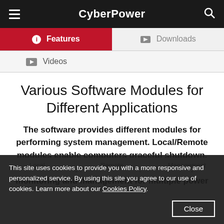CyberPower
Features
Downloads
Videos
Various Software Modules for Different Applications
The software provides different modules for performing system management. Local/Remote modules enable computers graceful shutdown, while Management module provides easy monitoring and management for multiple power devices via the network.
This site uses cookies to provide you with a more responsive and personalized service. By using this site you agree to our use of cookies. Learn more about our Cookies Policy.